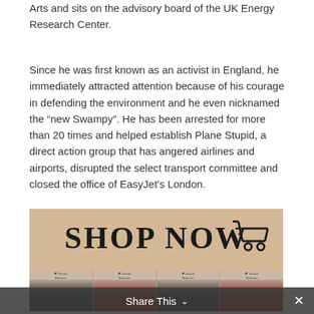Arts and sits on the advisory board of the UK Energy Research Center.
Since he was first known as an activist in England, he immediately attracted attention because of his courage in defending the environment and he even nicknamed the “new Swampy”. He has been arrested for more than 20 times and helped establish Plane Stupid, a direct action group that has angered airlines and airports, disrupted the select transport committee and closed the office of EasyJet’s London.
[Figure (other): SHOP NOW banner with shopping cart icon on a beige/tan background]
[Figure (photo): Strip of four fashion model photos showing women wearing jewelry/necklaces with a brand logo above each]
Share This